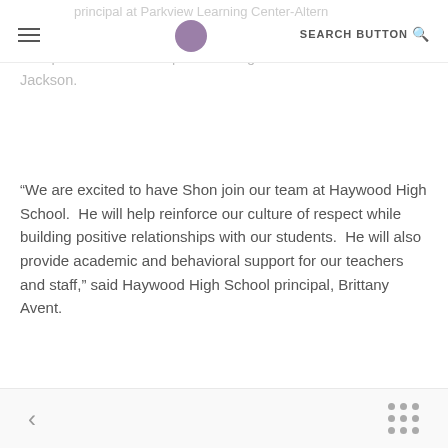SEARCH BUTTON
principal at Parkview Learning Center-Alternative School in Jackson.  He also served as assistant principal, instructional coach, and history chairperson at different points during his time in Jackson.
“We are excited to have Shon join our team at Haywood High School.  He will help reinforce our culture of respect while building positive relationships with our students.  He will also provide academic and behavioral support for our teachers and staff,” said Haywood High School principal, Brittany Avent.
<